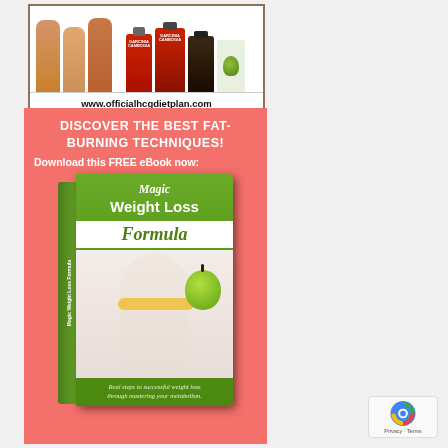[Figure (illustration): Top banner ad showing silhouettes of people and diet supplement bottles with URL www.officialhcgdietplan.com]
[Figure (illustration): Pink promotional box with headline 'DISCOVER THE BEST FAT-BURNING TECHNIQUES!' and 'Download this FREE eBook now:' followed by a green book cover for 'Magic Weight Loss Formula' showing a person's torso with tape measure and apple]
[Figure (logo): reCAPTCHA privacy badge in bottom right corner showing Privacy - Terms]